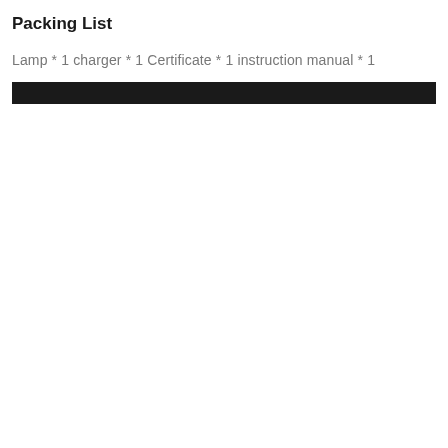Packing List
Lamp * 1 charger * 1 Certificate * 1 instruction manual * 1
[Figure (other): Black horizontal bar/divider]